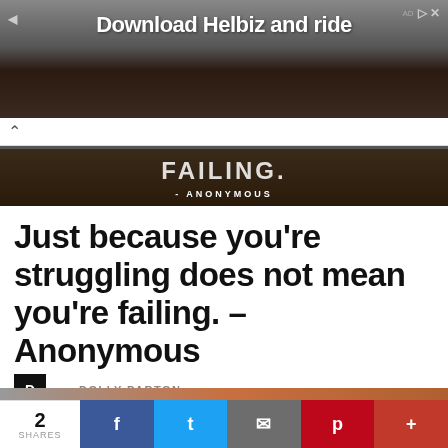[Figure (screenshot): Advertisement banner showing 'Download Helbiz and ride' with a bicycle handlebar background image, close button with X in top right]
[Figure (photo): Dark brown wood background with quote text '- ANONYMOUS' in white uppercase letters, partial quote text visible above]
Just because you’re struggling does not mean you’re failing. – Anonymous
D — DOLLY PARTON
[Figure (screenshot): Social share bar showing 2 SHARES count, Facebook, Twitter, Email, Pinterest, and plus buttons]